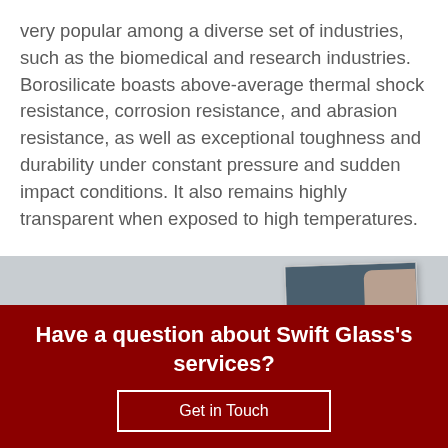very popular among a diverse set of industries, such as the biomedical and research industries. Borosilicate boasts above-average thermal shock resistance, corrosion resistance, and abrasion resistance, as well as exceptional toughness and durability under constant pressure and sudden impact conditions. It also remains highly transparent when exposed to high temperatures.
[Figure (photo): Gray background with a brochure showing 'Selecting and...' text and a hand touching glass]
Have a question about Swift Glass's services?
Get in Touch